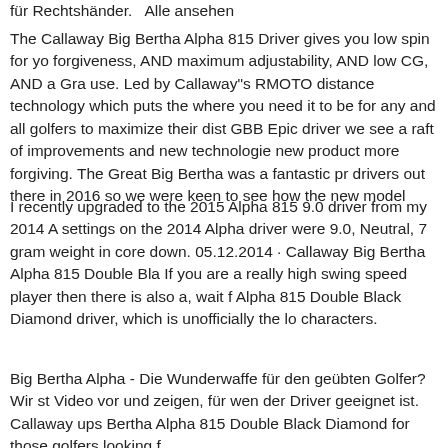für Rechtshänder.   Alle ansehen
The Callaway Big Bertha Alpha 815 Driver gives you low spin for yo forgiveness, AND maximum adjustability, AND low CG, AND a Gra use. Led by Callaway"s RMOTO distance technology which puts the where you need it to be for any and all golfers to maximize their dist GBB Epic driver we see a raft of improvements and new technologie new product more forgiving. The Great Big Bertha was a fantastic pr drivers out there in 2016 so we were keen to see how the new model
I recently upgraded to the 2015 Alpha 815 9.0 driver from my 2014 A settings on the 2014 Alpha driver were 9.0, Neutral, 7 gram weight in core down. 05.12.2014 · Callaway Big Bertha Alpha 815 Double Bla If you are a really high swing speed player then there is also a, wait f Alpha 815 Double Black Diamond driver, which is unofficially the lo characters.
Big Bertha Alpha - Die Wunderwaffe für den geübten Golfer? Wir st Video vor und zeigen, für wen der Driver geeignet ist. Callaway ups Bertha Alpha 815 Double Black Diamond for those golfers looking f